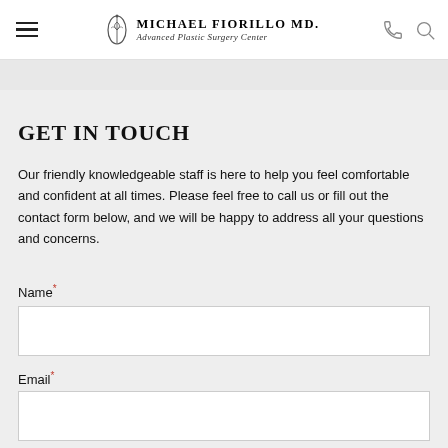Michael Fiorillo MD. Advanced Plastic Surgery Center
GET IN TOUCH
Our friendly knowledgeable staff is here to help you feel comfortable and confident at all times. Please feel free to call us or fill out the contact form below, and we will be happy to address all your questions and concerns.
Name*
Email*